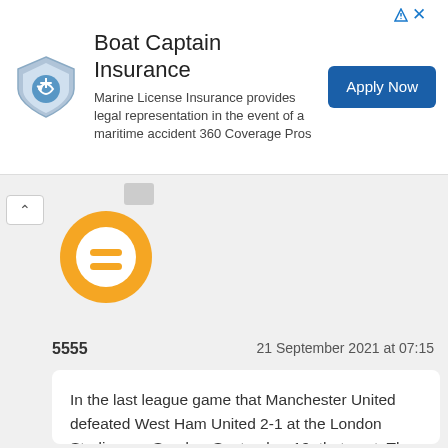[Figure (infographic): Boat Captain Insurance advertisement banner with shield logo, title 'Boat Captain Insurance', description text, and 'Apply Now' button]
5555
21 September 2021 at 07:15
In the last league game that Manchester United defeated West Ham United 2-1 at the London Stadium on Sunday, September 19, that past. They scored a winning goal from Jesse Lingard, who came on as a substitute in place of Paul Pogba, in fact, in the previous league game against Newcastle United, Lingard had been on as a substitute and Scored the same goal tonight, "Reds" Liverpool have a queue to visit Norwich City for the third round of the Carabao Cup, of course, manager Jurgen Klopp will choose to